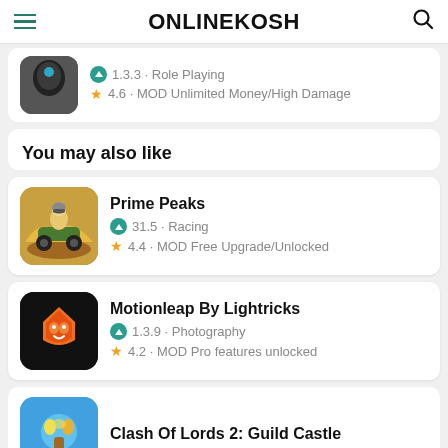ONLINEKOSH
1.3.3 · Role Playing
4.6 · MOD Unlimited Money/High Damage
You may also like
Prime Peaks
31.5 · Racing
4.4 · MOD Free Upgrade/Unlocked
Motionleap By Lightricks
1.3.9 · Photography
4.2 · MOD Pro features unlocked
Clash Of Lords 2: Guild Castle